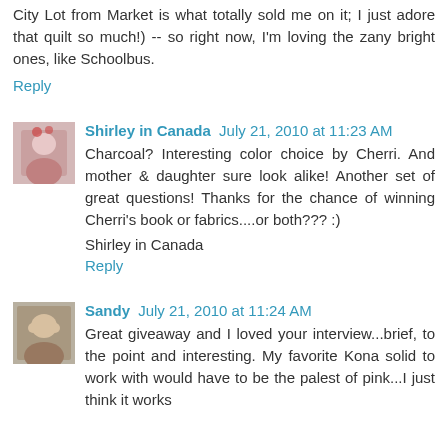City Lot from Market is what totally sold me on it; I just adore that quilt so much!) -- so right now, I'm loving the zany bright ones, like Schoolbus.
Reply
Shirley in Canada  July 21, 2010 at 11:23 AM
Charcoal? Interesting color choice by Cherri. And mother & daughter sure look alike! Another set of great questions! Thanks for the chance of winning Cherri's book or fabrics....or both??? :)
Shirley in Canada
Reply
Sandy  July 21, 2010 at 11:24 AM
Great giveaway and I loved your interview...brief, to the point and interesting. My favorite Kona solid to work with would have to be the palest of pink...I just think it works